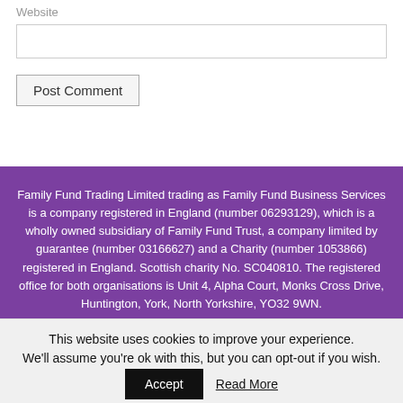Website
Post Comment
Family Fund Trading Limited trading as Family Fund Business Services is a company registered in England (number 06293129), which is a wholly owned subsidiary of Family Fund Trust, a company limited by guarantee (number 03166627) and a Charity (number 1053866) registered in England. Scottish charity No. SC040810. The registered office for both organisations is Unit 4, Alpha Court, Monks Cross Drive, Huntington, York, North Yorkshire, YO32 9WN.
This website uses cookies to improve your experience. We'll assume you're ok with this, but you can opt-out if you wish.
Accept
Read More